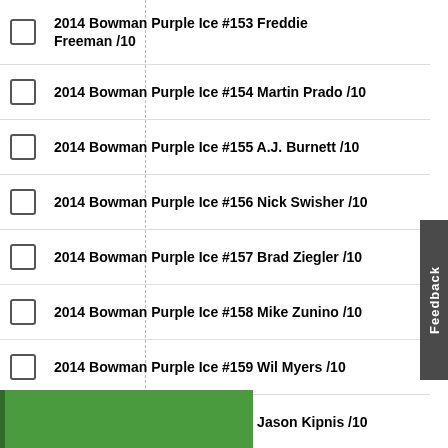2014 Bowman Purple Ice #153 Freddie Freeman /10
2014 Bowman Purple Ice #154 Martin Prado /10
2014 Bowman Purple Ice #155 A.J. Burnett /10
2014 Bowman Purple Ice #156 Nick Swisher /10
2014 Bowman Purple Ice #157 Brad Ziegler /10
2014 Bowman Purple Ice #158 Mike Zunino /10
2014 Bowman Purple Ice #159 Wil Myers /10
2014 Bowman Purple Ice #160 Jason Kipnis /10
2014 Bowman Purple Ice #161 Jered Weaver /10
2014 Bowman Purple Ice #162 Trevor Bauer /10
2014 Bowman Purple Ice #163 Zack Greinke /10